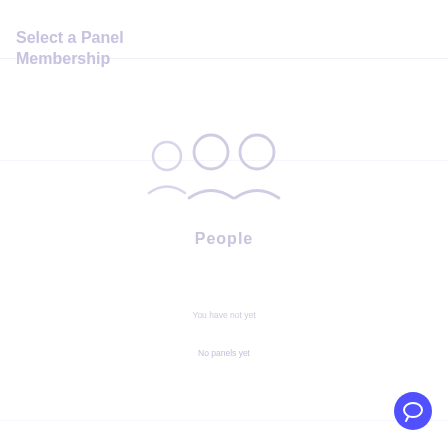Select a Panel
Membership
[Figure (illustration): Two user/person icons side by side with a smaller person icon to the left, representing panel membership selection. Below the icons is a label 'People'.]
People
You have not yet
No panels yet
[Figure (other): Chat support button (blue circle with speech bubble icon) in the bottom right corner]